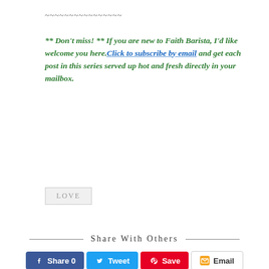~~~~~~~~~~~~~~~~
** Don't miss! ** If you are new to Faith Barista, I'd like welcome you here. Click to subscribe by email and get each post in this series served up hot and fresh directly in your mailbox.
LOVE
Share With Others
Share 0  Tweet  Save  Email